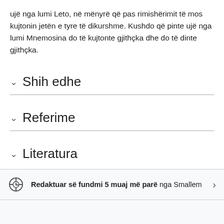ujë nga lumi Leto, në mënyrë që pas rimishërimit të mos kujtonin jetën e tyre të dikurshme. Kushdo që pinte ujë nga lumi Mnemosina do të kujtonte gjithçka dhe do të dinte gjithçka.
Shih edhe
Referime
Literatura
Redaktuar së fundmi 5 muaj më parë nga Smallem